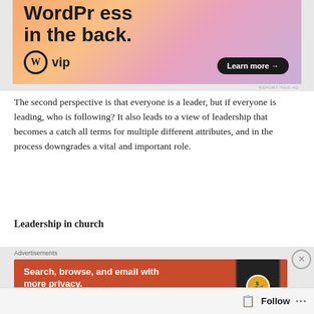[Figure (illustration): WordPress VIP advertisement banner with colorful orange/pink/purple gradient background. Text reads 'WordPress in the back.' with WordPress W logo, 'vip' text, and 'Learn more →' button.]
The second perspective is that everyone is a leader, but if everyone is leading, who is following? It also leads to a view of leadership that becomes a catch all terms for multiple different attributes, and in the process downgrades a vital and important role.
Leadership in church
Advertisements
[Figure (illustration): DuckDuckGo advertisement on orange/red background. Text: 'Search, browse, and email with more privacy. All in One Free App' with phone mockup showing DuckDuckGo logo.]
Follow ...